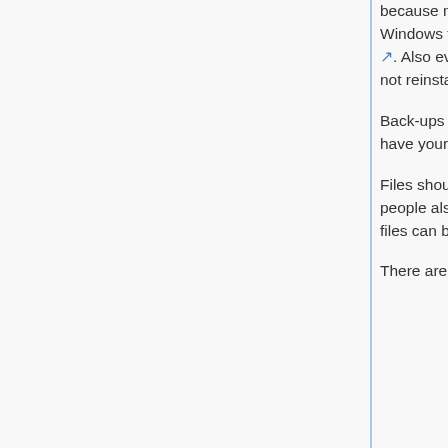because many common Windows viruses will cause system corruptions that prevent Windows from booting. In that case a rescue disk may be helpful for recovering your files. Also even without malware woes, all versions of Windows break down over time and, if not reinstalled regularly, eventually every Windows installation will become un-bootable.
Back-ups also provide insurance in case your computer gets stolen. At least you will still have your files.
Files should be backed up on a regular basis, perhaps daily or at least weekly. Some people also make archive copies every few months or annually, so that old versions of files can be retrieved.
There are many ways of backing up files, including: